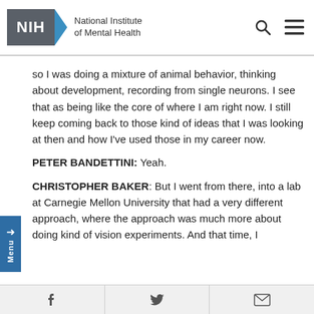NIH National Institute of Mental Health
so I was doing a mixture of animal behavior, thinking about development, recording from single neurons. I see that as being like the core of where I am right now. I still keep coming back to those kind of ideas that I was looking at then and how I've used those in my career now.
PETER BANDETTINI: Yeah.
CHRISTOPHER BAKER: But I went from there, into a lab at Carnegie Mellon University that had a very different approach, where the approach was much more about doing kind of vision experiments. And that time, I
f  Twitter  Email